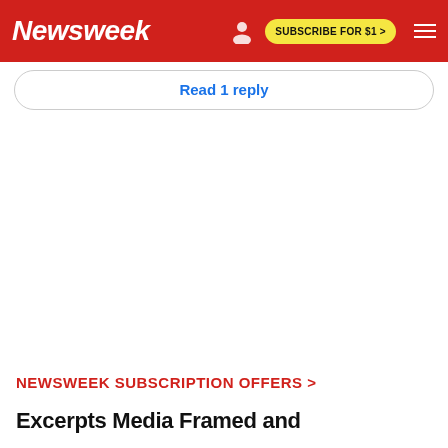Newsweek — SUBSCRIBE FOR $1 >
Read 1 reply
NEWSWEEK SUBSCRIPTION OFFERS >
Excerpts Media Framed and other...